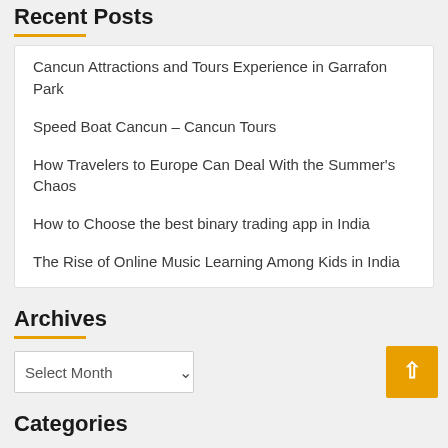Recent Posts
Cancun Attractions and Tours Experience in Garrafon Park
Speed Boat Cancun – Cancun Tours
How Travelers to Europe Can Deal With the Summer's Chaos
How to Choose the best binary trading app in India
The Rise of Online Music Learning Among Kids in India
Archives
Select Month
Categories